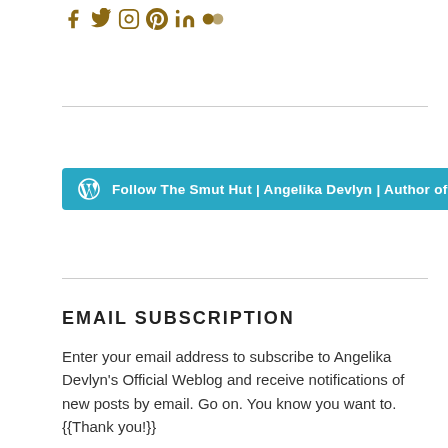[Figure (logo): Social media icons row: Facebook, Twitter, Instagram, Pinterest, LinkedIn, Flickr — all in golden/dark yellow color]
[Figure (other): Teal/cyan button with WordPress logo icon and text: Follow The Smut Hut | Angelika Devlyn | Author of Erotica]
EMAIL SUBSCRIPTION
Enter your email address to subscribe to Angelika Devlyn's Official Weblog and receive notifications of new posts by email. Go on. You know you want to. {{Thank you!}}
Enter your email address
I can't wait. Sign me up! =^_^=